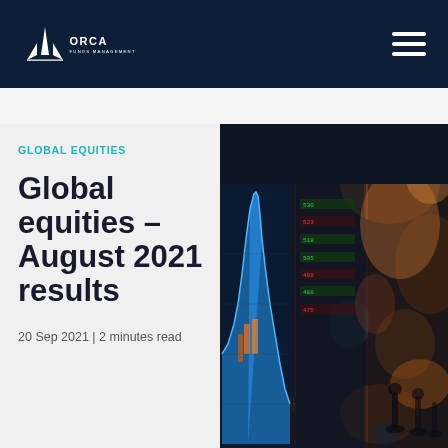ORCA FUNDS MANAGEMENT
GLOBAL EQUITIES
Global equities – August 2021 results
20 Sep 2021 | 2 minutes read
[Figure (photo): Stock market display board showing blue candlestick chart with dramatic peak spike, overlaid on a busy trading floor scene with people and bokeh light effects]